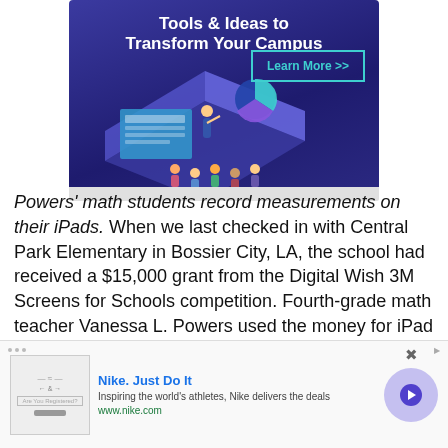[Figure (illustration): Purple/dark blue advertisement banner for an education technology product. Title reads 'Tools & Ideas to Transform Your Campus' in bold white text. Shows an isometric illustration of a presenter at a large screen/laptop with students sitting around. A 'Learn More >>' button with teal border is visible.]
Powers' math students record measurements on their iPads. When we last checked in with Central Park Elementary in Bossier City, LA, the school had received a $15,000 grant from the Digital Wish 3M Screens for Schools competition. Fourth-grade math teacher Vanessa L. Powers used the money for iPad
[Figure (illustration): Bottom advertisement bar for Nike. Shows Nike brand logo image on the left, text 'Nike. Just Do It' in blue bold, 'Inspiring the world's athletes, Nike delivers the deals' in gray, 'www.nike.com' in green, and a purple circle with a right arrow on the right. Has a close X button and an Ad label.]